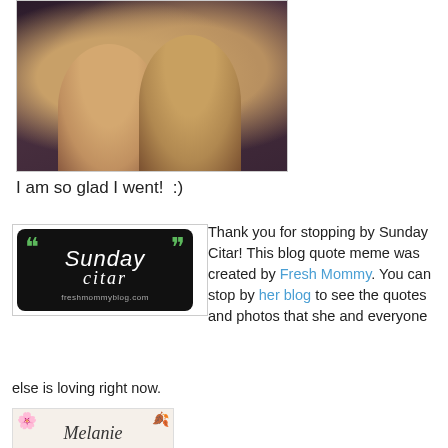[Figure (photo): Two women hugging and smiling at the camera in a dimly lit indoor setting]
I am so glad I went!  :)
[Figure (logo): Sunday Citar logo on black rounded rectangle background with green quotation marks, text reads 'Sunday citar' and 'freshmommyblog.com']
Thank you for stopping by Sunday Citar! This blog quote meme was created by Fresh Mommy. You can stop by her blog to see the quotes and photos that she and everyone else is loving right now.
[Figure (logo): Partial logo with floral decoration and cursive text reading 'Melanie' or similar]